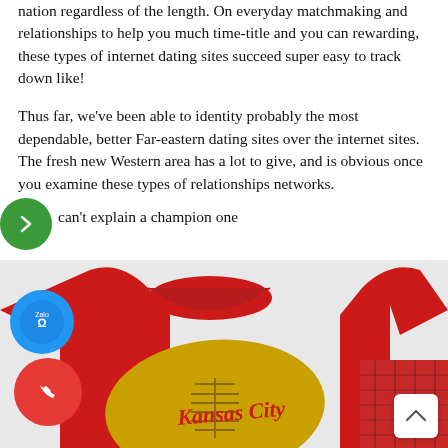nation regardless of the length. On everyday matchmaking and relationships to help you much time-title and you can rewarding, these types of internet dating sites succeed super easy to track down like!
Thus far, we've been able to identity probably the most dependable, better Far-eastern dating sites over the internet sites. The fresh new Western area has a lot to give, and is obvious once you examine these types of relationships networks.
can't explain a champion one
[Figure (photo): A red Kansas City football-themed t-shirt with a yellow football graphic and 'Kansas City' text in script, displayed with red plaid shorts. Overlaid with Zalo app icon (blue circle), phone icon (red circle), and a back-to-top arrow button.]